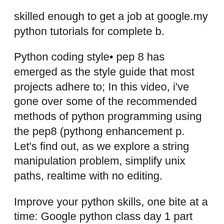skilled enough to get a job at google.my python tutorials for complete b.
Python coding style• pep 8 has emerged as the style guide that most projects adhere to; In this video, i've gone over some of the recommended methods of python programming using the pep8 (pythong enhancement p. Let's find out, as we explore a string manipulation problem, simplify unix paths, realtime with no editing.
Improve your python skills, one bite at a time: Google python class day 1 part 1:introduction and strings.interested in learning python? Python 3.6 tutorial #15(docstrings, annotations and the basics of pep8.